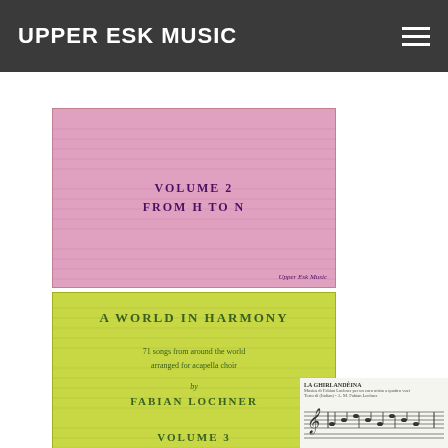UPPER ESK MUSIC
[Figure (photo): Pink book cover: A World in Harmony, Volume 2, From H to N, Upper Esk Music]
[Figure (photo): Yellow-green book cover: A World in Harmony, 71 songs from around the world arranged for acapella choir, by Fabian Lochner, Volume 3, From O to W, Upper Esk Music]
[Figure (photo): Partial view of a music sheet at the bottom right showing La Ghirlandina with musical notation]